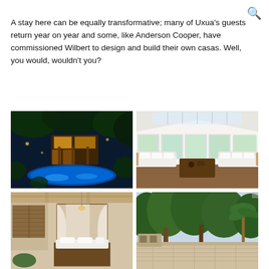A stay here can be equally transformative; many of Uxua's guests return year on year and some, like Anderson Cooper, have commissioned Wilbert to design and build their own casas. Well, you would, wouldn't you?
[Figure (photo): Night view of a tropical resort with illuminated swimming pool and lush vegetation]
[Figure (photo): Bright white interior living room with vaulted ceiling, large windows and white sofas on wooden furniture]
[Figure (photo): Bedroom interior with draped canopy bed, wooden shuttered windows and tropical decor]
[Figure (photo): Outdoor terrace or patio surrounded by lush tropical trees and palm trees]